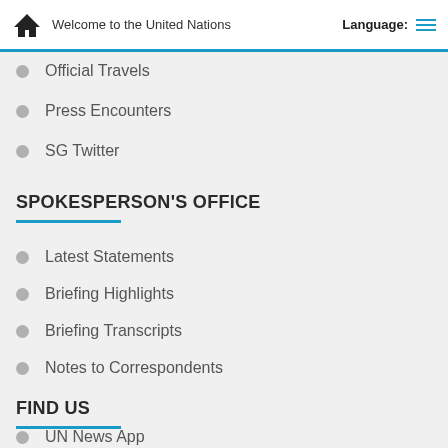Welcome to the United Nations   Language:
Official Travels
Press Encounters
SG Twitter
SPOKESPERSON'S OFFICE
Latest Statements
Briefing Highlights
Briefing Transcripts
Notes to Correspondents
FIND US
UN News App